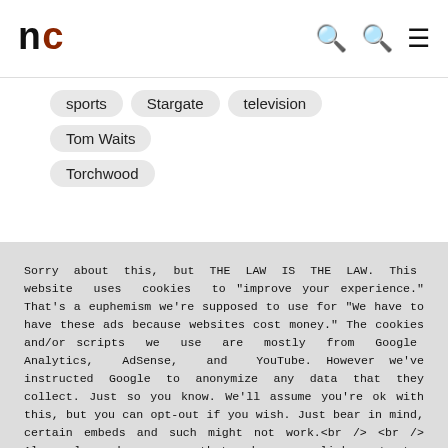nc (logo) | search icons | menu
sports
Stargate
television
Tom Waits
Torchwood
Sorry about this, but THE LAW IS THE LAW. This website uses cookies to "improve your experience." That's a euphemism we're supposed to use for "We have to have these ads because websites cost money." The cookies and/or scripts we use are mostly from Google Analytics, AdSense, and YouTube. However we've instructed Google to anonymize any data that they collect. Just so you know. We'll assume you're ok with this, but you can opt-out if you wish. Just bear in mind, certain embeds and such might not work.<br /> <br /> Also, please be aware that when we link out to products, we may earn a commission for doing so. Because we're certainly not doing it for our health. See our privacy policy & terms of use for more info than you would ever want to know. – Privacy Policy & Terms of Use